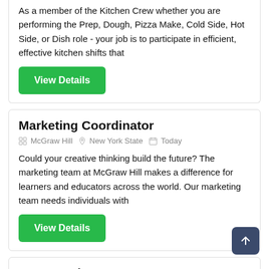As a member of the Kitchen Crew whether you are performing the Prep, Dough, Pizza Make, Cold Side, Hot Side, or Dish role - your job is to participate in efficient, effective kitchen shifts that
View Details
Marketing Coordinator
McGraw Hill   New York State   Today
Could your creative thinking build the future? The marketing team at McGraw Hill makes a difference for learners and educators across the world. Our marketing team needs individuals with
View Details
Front Desk Agent